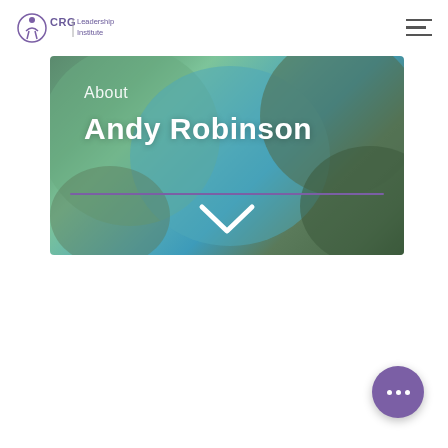CRG Leadership Institute
[Figure (screenshot): Hero banner image with blurred outdoor background (green trees and blue tones). Text overlay reads 'About' and 'Andy Robinson' in white. A purple horizontal divider line and a white chevron/down arrow are displayed below the name.]